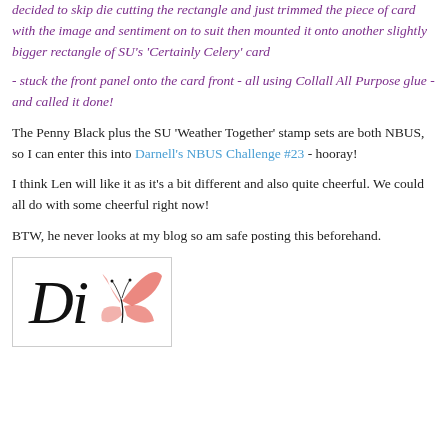decided to skip die cutting the rectangle and just trimmed the piece of card with the image and sentiment on to suit then mounted it onto another slightly bigger rectangle of SU's 'Certainly Celery' card
- stuck the front panel onto the card front - all using Collall All Purpose glue - and called it done!
The Penny Black plus the SU 'Weather Together' stamp sets are both NBUS, so I can enter this into Darnell's NBUS Challenge #23 - hooray!
I think Len will like it as it's a bit different and also quite cheerful. We could all do with some cheerful right now!
BTW, he never looks at my blog so am safe posting this beforehand.
[Figure (logo): Di signature logo with stylized Di text in black cursive and a pink butterfly illustration]